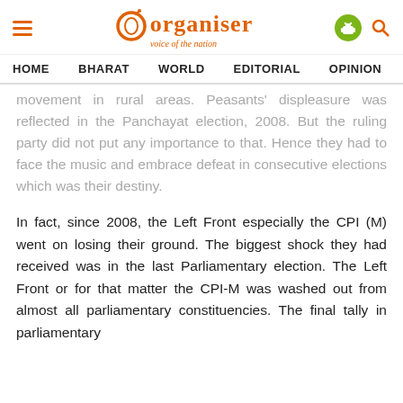Organiser — voice of the nation
HOME  BHARAT  WORLD  EDITORIAL  OPINION  ANA
movement in rural areas. Peasants' displeasure was reflected in the Panchayat election, 2008. But the ruling party did not put any importance to that. Hence they had to face the music and embrace defeat in consecutive elections which was their destiny.
In fact, since 2008, the Left Front especially the CPI (M) went on losing their ground. The biggest shock they had received was in the last Parliamentary election. The Left Front or for that matter the CPI-M was washed out from almost all parliamentary constituencies. The final tally in parliamentary